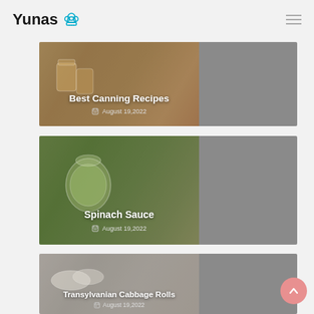Yunas
[Figure (photo): Food blog card showing canning jars with title 'Best Canning Recipes' and date August 19,2022]
[Figure (photo): Food blog card showing a jar of spinach sauce with title 'Spinach Sauce' and date August 19,2022]
[Figure (photo): Food blog card showing cabbage rolls with title 'Transylvanian Cabbage Rolls' and date August 19,2022]